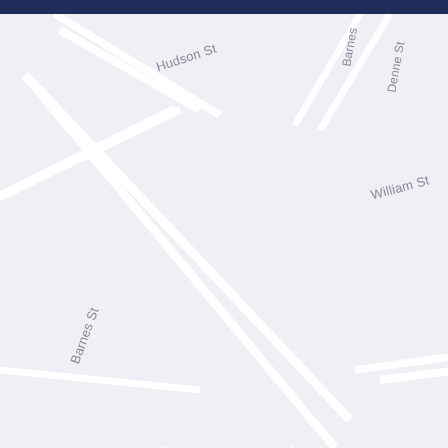[Figure (map): Street map showing a grid of streets including Hudson St, Barnes St, William St, Reserve Pl, In St, Out St, Phillip St, King St, Hercules St, Denison St, Crown St, Denne St, Thomas St, Phillip L, and others. Light grey background with white road lines.]